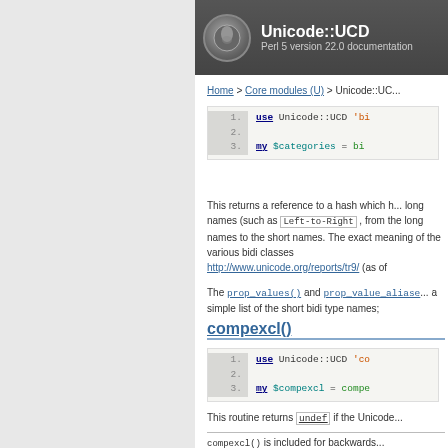Unicode::UCD — Perl 5 version 22.0 documentation
Home > Core modules (U) > Unicode::UC...
[Figure (screenshot): Code block with line numbers 1-3 showing: use Unicode::UCD 'bi...  my $categories = bi...]
This returns a reference to a hash which has long names (such as Left-to-Right , from the long names to the short names. The exact meaning of the various bidi classes http://www.unicode.org/reports/tr9/ (as of
The prop_values() and prop_value_aliase... a simple list of the short bidi type names;
compexcl()
[Figure (screenshot): Code block with line numbers 1-3 showing: use Unicode::UCD 'co...  my $compexcl = compe...]
This routine returns undef if the Unicode...
compexcl() is included for backwards...